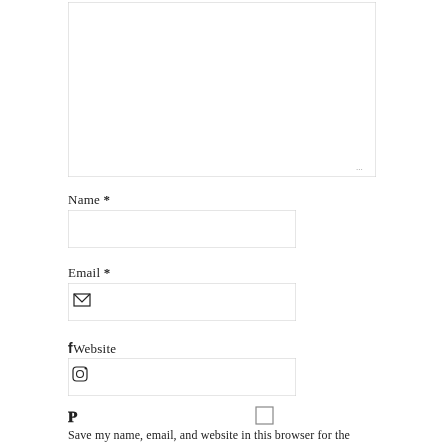[Figure (screenshot): A textarea input box at the top of a web form, partially visible, with a resize handle in the bottom right corner.]
Name *
[Figure (screenshot): A text input field for Name.]
Email *
[Figure (screenshot): A text input field for Email with an envelope icon overlaid at the left.]
Website
[Figure (screenshot): A text input field for Website with social media icons (Facebook, Instagram, Pinterest) overlaid.]
Save my name, email, and website in this browser for the next time I comment.